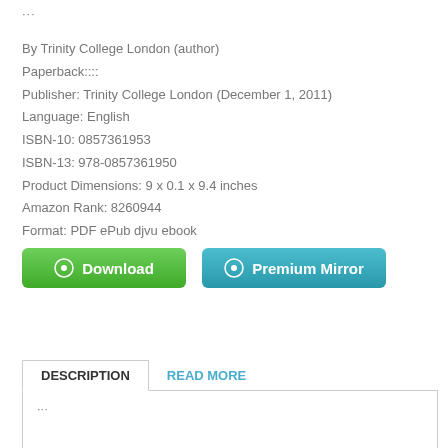...
By Trinity College London (author)
Paperback::::
Publisher: Trinity College London (December 1, 2011)
Language: English
ISBN-10: 0857361953
ISBN-13: 978-0857361950
Product Dimensions: 9 x 0.1 x 9.4 inches
Amazon Rank: 8260944
Format: PDF ePub djvu ebook
[Figure (other): Green Download button and teal Premium Mirror button with circular icons]
DESCRIPTION | READ MORE
...